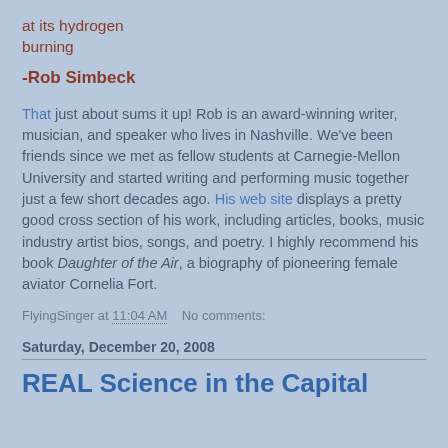at its hydrogen burning
-Rob Simbeck
That just about sums it up! Rob is an award-winning writer, musician, and speaker who lives in Nashville. We've been friends since we met as fellow students at Carnegie-Mellon University and started writing and performing music together just a few short decades ago. His web site displays a pretty good cross section of his work, including articles, books, music industry artist bios, songs, and poetry. I highly recommend his book Daughter of the Air, a biography of pioneering female aviator Cornelia Fort.
FlyingSinger at 11:04 AM   No comments:
Saturday, December 20, 2008
REAL Science in the Capital